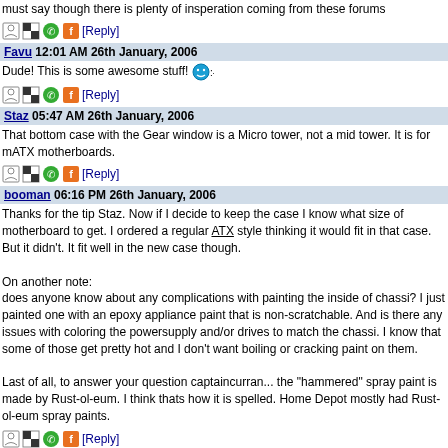must say though there is plenty of insperation coming from these forums
[Reply] icons bar
Favu 12:01 AM 26th January, 2006
Dude! This is some awesome stuff! :-)
[Reply] icons bar
Staz 05:47 AM 26th January, 2006
That bottom case with the Gear window is a Micro tower, not a mid tower. It is for mATX motherboards.
[Reply] icons bar
booman 06:16 PM 26th January, 2006
Thanks for the tip Staz. Now if I decide to keep the case I know what size of motherboard to get. I ordered a regular ATX style thinking it would fit in that case. But it didn't. It fit well in the new case though.

On another note:
does anyone know about any complications with painting the inside of chassi? I just painted one with an epoxy appliance paint that is non-scratchable. And is there any issues with coloring the powersupply and/or drives to match the chassi. I know that some of those get pretty hot and I don't want boiling or cracking paint on them.

Last of all, to answer your question captaincurran... the "hammered" spray paint is made by Rust-ol-eum. I think thats how it is spelled. Home Depot mostly had Rust-ol-eum spray paints.
[Reply] icons bar
Page 1 of 2
1 2 >
Up
---- AOA Neutral